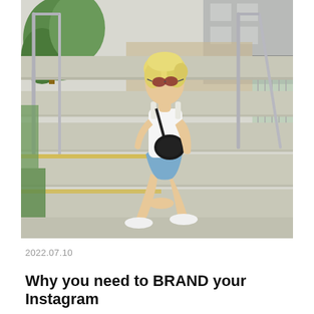[Figure (photo): A blonde woman wearing sunglasses, white top, denim shorts, and white sneakers, sitting on concrete outdoor stairs with metal railings. She carries a black crossbody bag. Green trees and a building are visible in the background.]
2022.07.10
Why you need to BRAND your Instagram